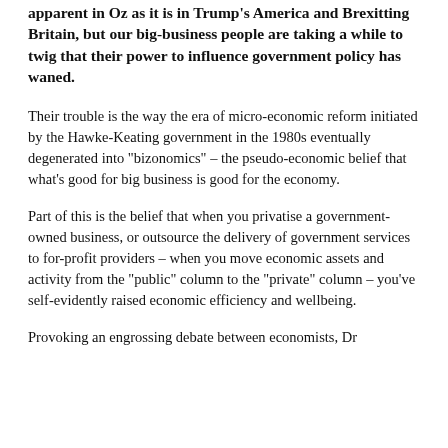apparent in Oz as it is in Trump's America and Brexitting Britain, but our big-business people are taking a while to twig that their power to influence government policy has waned.
Their trouble is the way the era of micro-economic reform initiated by the Hawke-Keating government in the 1980s eventually degenerated into "bizonomics" – the pseudo-economic belief that what's good for big business is good for the economy.
Part of this is the belief that when you privatise a government-owned business, or outsource the delivery of government services to for-profit providers – when you move economic assets and activity from the "public" column to the "private" column – you've self-evidently raised economic efficiency and wellbeing.
Provoking an engrossing debate between economists, Dr